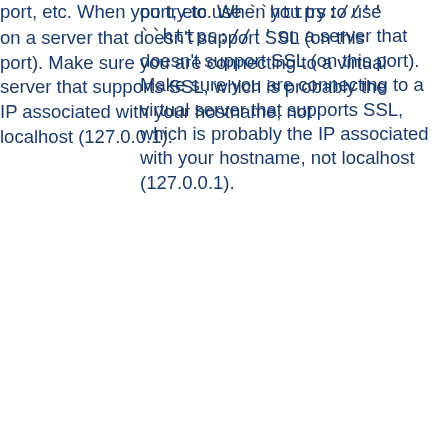port, etc. When you try to use ``https://'' on a server that doesn't support SSL (on this port). Make sure you are connecting to a virtual server that supports SSL, which is probably the IP associated with your hostname, not localhost (127.0.0.1).
Why do I get ``Connection Refused'' messages, when trying to access my newly installed Apache+mod_ssl server via HTTPS?
This can happen for various reasons. The most common mistakes include starting Apache with just apachectl